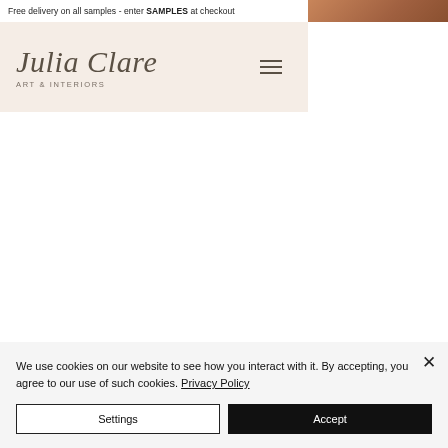Free delivery on all samples - enter SAMPLES at checkout
[Figure (logo): Julia Clare Art & Interiors logo on cream/beige background with hamburger menu icon]
[Figure (photo): Partial product/lifestyle photo in top right corner, warm brown tones]
We use cookies on our website to see how you interact with it. By accepting, you agree to our use of such cookies. Privacy Policy
Settings
Accept